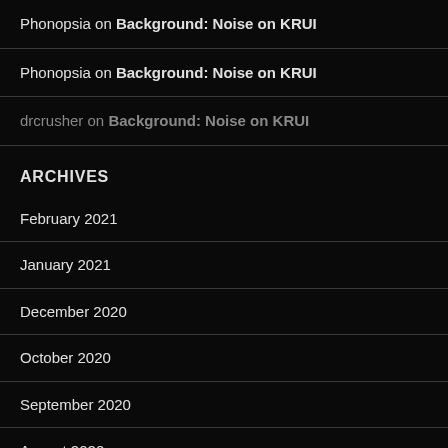Phonopsia on Background: Noise on KRUI
Phonopsia on Background: Noise on KRUI
drcrusher on Background: Noise on KRUI
ARCHIVES
February 2021
January 2021
December 2020
October 2020
September 2020
August 2020
July 2020